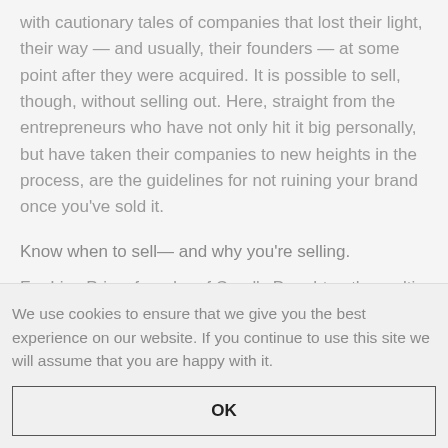with cautionary tales of companies that lost their light, their way — and usually, their founders — at some point after they were acquired. It is possible to sell, though, without selling out. Here, straight from the entrepreneurs who have not only hit it big personally, but have taken their companies to new heights in the process, are the guidelines for not ruining your brand once you've sold it.
Know when to sell— and why you're selling.
For Lisa Price, founder of Carol's Daughter, the multi-ethnic skin- and hair-care brand she started in her
We use cookies to ensure that we give you the best experience on our website. If you continue to use this site we will assume that you are happy with it.
OK